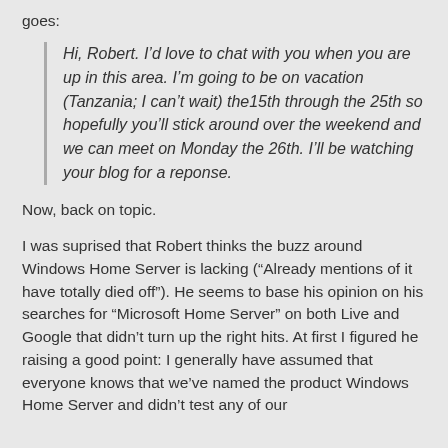goes:
Hi, Robert. I’d love to chat with you when you are up in this area. I’m going to be on vacation (Tanzania; I can’t wait) the15th through the 25th so hopefully you’ll stick around over the weekend and we can meet on Monday the 26th. I’ll be watching your blog for a reponse.
Now, back on topic.
I was suprised that Robert thinks the buzz around Windows Home Server is lacking (“Already mentions of it have totally died off”). He seems to base his opinion on his searches for “Microsoft Home Server” on both Live and Google that didn’t turn up the right hits. At first I figured he raising a good point: I generally have assumed that everyone knows that we’ve named the product Windows Home Server and didn’t test any of our